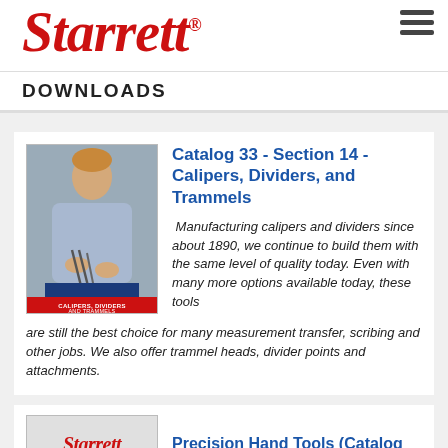Starrett® DOWNLOADS
[Figure (photo): Person holding calipers/dividers tool with catalog cover showing 'Calipers, Dividers and Trammels']
Catalog 33 - Section 14 - Calipers, Dividers, and Trammels
Manufacturing calipers and dividers since about 1890, we continue to build them with the same level of quality today. Even with many more options available today, these tools are still the best choice for many measurement transfer, scribing and other jobs. We also offer trammel heads, divider points and attachments.
[Figure (logo): Starrett logo in red italic on gray background]
Precision Hand Tools (Catalog